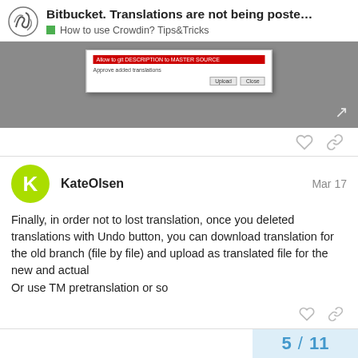Bitbucket. Translations are not being poste...
How to use Crowdin? Tips&Tricks
[Figure (screenshot): Screenshot of a dialog box with a red-highlighted option 'Allow to git DESCRIPTION to MASTER SOURCE' and 'Approve added translations', with Upload and Close buttons, on a grey background.]
KateOlsen  Mar 17

Finally, in order not to lost translation, once you deleted translations with Undo button, you can download translation for the old branch (file by file) and upload as translated file for the new and actual
Or use TM pretranslation or so
5 / 11